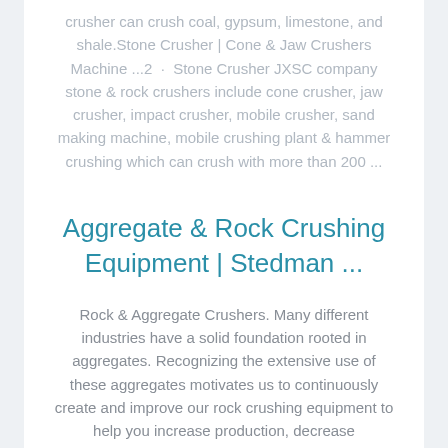crusher can crush coal, gypsum, limestone, and shale.Stone Crusher | Cone & Jaw Crushers Machine ...2  ·  Stone Crusher JXSC company stone & rock crushers include cone crusher, jaw crusher, impact crusher, mobile crusher, sand making machine, mobile crushing plant & hammer crushing which can crush with more than 200 ...
Aggregate & Rock Crushing Equipment | Stedman ...
Rock & Aggregate Crushers. Many different industries have a solid foundation rooted in aggregates. Recognizing the extensive use of these aggregates motivates us to continuously create and improve our rock crushing equipment to help you increase production, decrease maintenance and